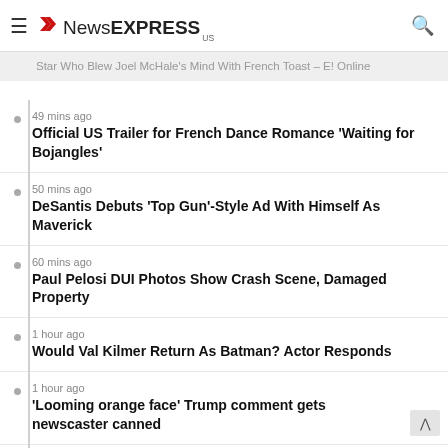NewsEXPRESS US
Star Who Blew Joel McHale's Mind With French Toast – E! Online
49 mins ago — Official US Trailer for French Dance Romance 'Waiting for Bojangles'
50 mins ago — DeSantis Debuts 'Top Gun'-Style Ad With Himself As Maverick
60 mins ago — Paul Pelosi DUI Photos Show Crash Scene, Damaged Property
1 hour ago — Would Val Kilmer Return As Batman? Actor Responds
1 hour ago — 'Looming orange face' Trump comment gets newscaster canned
1 hour ago — Student suing prep school teacher over zero test grade